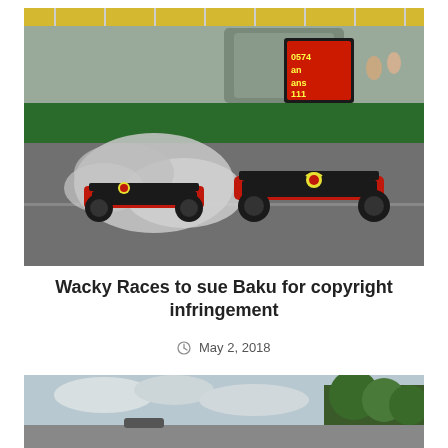[Figure (photo): Two Red Bull Formula 1 cars colliding on track at Baku, with smoke and tire marks visible. Green barrier walls and Rolex advertising boards in the background.]
Wacky Races to sue Baku for copyright infringement
May 2, 2018
[Figure (photo): Partial view of a racing car on track with trees and cloudy sky in background.]